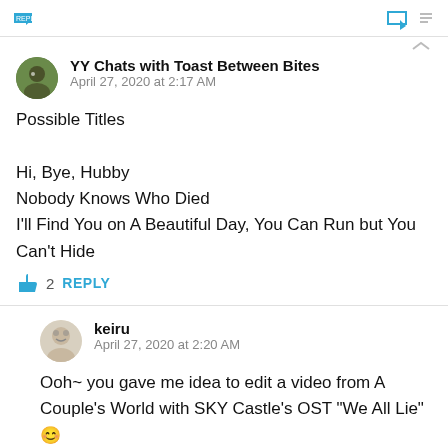REPLY
YY Chats with Toast Between Bites
April 27, 2020 at 2:17 AM
Possible Titles

Hi, Bye, Hubby
Nobody Knows Who Died
I'll Find You on A Beautiful Day, You Can Run but You Can't Hide
2  REPLY
keiru
April 27, 2020 at 2:20 AM
Ooh~ you gave me idea to edit a video from A Couple's World with SKY Castle's OST "We All Lie" 😊